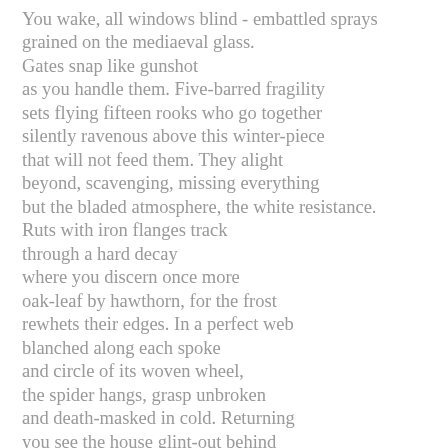You wake, all windows blind - embattled sprays
grained on the mediaeval glass.
Gates snap like gunshot
as you handle them. Five-barred fragility
sets flying fifteen rooks who go together
silently ravenous above this winter-piece
that will not feed them. They alight
beyond, scavenging, missing everything
but the bladed atmosphere, the white resistance.
Ruts with iron flanges track
through a hard decay
where you discern once more
oak-leaf by hawthorn, for the frost
rewhets their edges. In a perfect web
blanched along each spoke
and circle of its woven wheel,
the spider hangs, grasp unbroken
and death-masked in cold. Returning
you see the house glint-out behind
its holed and ragged glaze,
frost-fronds all streaming.